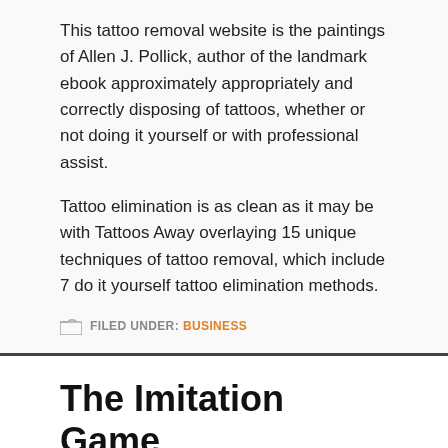This tattoo removal website is the paintings of Allen J. Pollick, author of the landmark ebook approximately appropriately and correctly disposing of tattoos, whether or not doing it yourself or with professional assist.
Tattoo elimination is as clean as it may be with Tattoos Away overlaying 15 unique techniques of tattoo removal, which include 7 do it yourself tattoo elimination methods.
FILED UNDER: BUSINESS
The Imitation Game